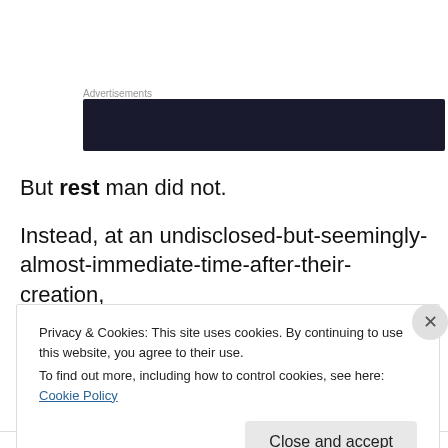Advertisements
[Figure (other): Dark advertisement banner (redacted/blurred)]
But rest man did not.
Instead, at an undisclosed-but-seemingly-almost-immediate-time-after-their-creation,
the woman placed as a helper suitable for him
Privacy & Cookies: This site uses cookies. By continuing to use this website, you agree to their use.
To find out more, including how to control cookies, see here: Cookie Policy